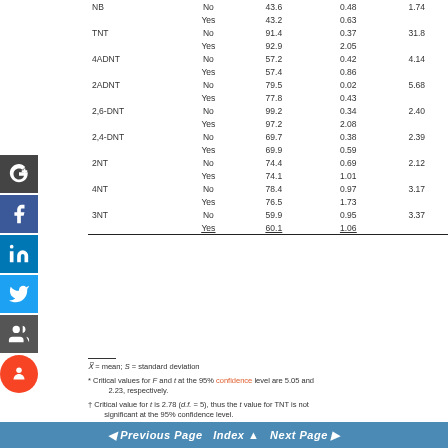|  | Yes/No | X̄ | S | F |
| --- | --- | --- | --- | --- |
| NB | No | 43.6 | 0.48 | 1.74 |
|  | Yes | 43.2 | 0.63 |  |
| TNT | No | 91.4 | 0.37 | 31.8 |
|  | Yes | 92.9 | 2.05 |  |
| 4ADNT | No | 57.2 | 0.42 | 4.14 |
|  | Yes | 57.4 | 0.86 |  |
| 2ADNT | No | 79.5 | 0.02 | 5.68 |
|  | Yes | 77.8 | 0.43 |  |
| 2,6-DNT | No | 99.2 | 0.34 | 2.40 |
|  | Yes | 97.2 | 2.08 |  |
| 2,4-DNT | No | 69.7 | 0.38 | 2.39 |
|  | Yes | 69.9 | 0.59 |  |
| 2NT | No | 74.4 | 0.69 | 2.12 |
|  | Yes | 74.1 | 1.01 |  |
| 4NT | No | 78.4 | 0.97 | 3.17 |
|  | Yes | 76.5 | 1.73 |  |
| 3NT | No | 59.9 | 0.95 | 3.37 |
|  | Yes | 60.1 | 1.06 |  |
X̄ = mean; S = standard deviation
* Critical values for F and t at the 95% confidence level are 5.05 and 2.23, respectively.
† Critical value for t is 2.78 (d.f. = 5), thus the t value for TNT is not significant at the 95% confidence level.
†† Critical value for t is 2.37 (d.f. = 7), thus the t value for 2ADNT is significant at the 95% confidence level.
found due to acidification. For 2ADNT, the F ratio
◄ Previous Page  Index ▲  Next Page ►